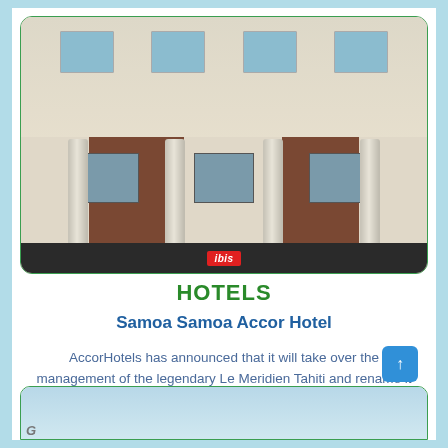[Figure (photo): Exterior of an Ibis hotel building showing a multi-story facade with cream/beige upper walls, multiple windows, brick-clad lower level with concrete columns, and an Ibis brand sign at the bottom.]
HOTELS
Samoa Samoa Accor Hotel
AccorHotels has announced that it will take over the management of the legendary Le Meridien Tahiti and rename it Ora …
[Figure (photo): Partial view of another hotel building exterior showing sky and building top, partially cropped.]